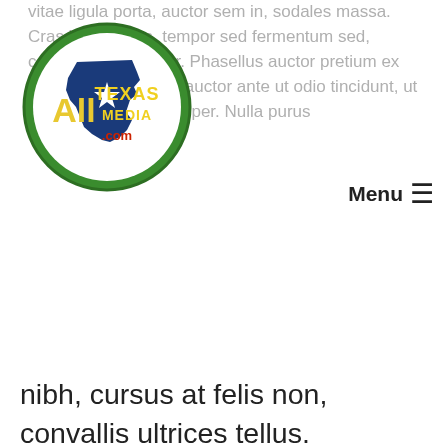vitae ligula porta, auctor sem in, sodales massa. Cras ligula tellus, tempor sed fermentum sed, consectetur ac dolor. Phasellus auctor pretium ex nec egestas. Mauris auctor ante ut odio tincidunt, ut varius lectus ullamcorper. Nulla purus
[Figure (logo): All Texas Media circular logo with green border and Texas state shape]
Menu ≡
nibh, cursus at felis non, convallis ultrices tellus. Phasellus sed mollis nunc. Donec efficitur nulla nisl, non mattis tortor sollicitudin porttitor. Nunc ut cursus elit, sed luctus nulla. Morbi mattis metus eu ex tristique laoreet. Morbi est risus, tincidunt gravida eleifend at, porttitor vitae erat.